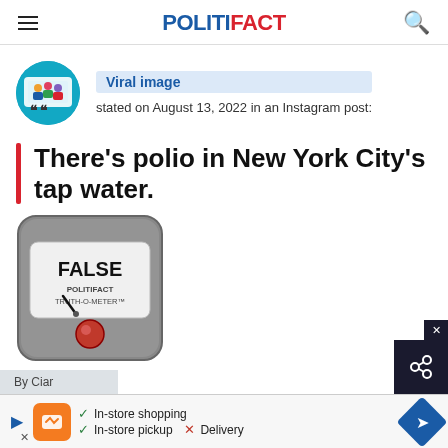POLITIFACT
[Figure (logo): Viral image source icon - circular teal icon with people and social media imagery]
Viral image stated on August 13, 2022 in an Instagram post:
There’s polio in New York City’s tap water.
[Figure (illustration): PolitiFact Truth-O-Meter rating gauge showing FALSE with needle pointing to red indicator at bottom]
By Ciar
[Figure (screenshot): Advertisement bar showing Boost Mobile ad with in-store shopping checkmark, in-store pickup checkmark, and Delivery with X mark, plus navigation arrow icon]